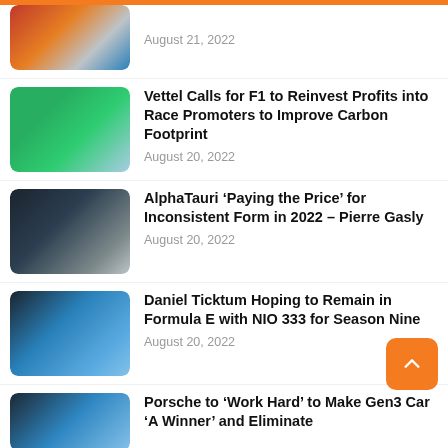[Figure (photo): Partial view of racing celebration photo at top of page]
August 21, 2022
[Figure (photo): Photo of Sebastian Vettel in green Aston Martin team gear with sunglasses]
Vettel Calls for F1 to Reinvest Profits into Race Promoters to Improve Carbon Footprint
August 20, 2022
[Figure (photo): AlphaTauri F1 car on track with crypto.com branding visible]
AlphaTauri ‘Paying the Price’ for Inconsistent Form in 2022 – Pierre Gasly
August 20, 2022
[Figure (photo): Formula E car in blue livery]
Daniel Ticktum Hoping to Remain in Formula E with NIO 333 for Season Nine
August 20, 2022
[Figure (photo): Partial view of Porsche Gen3 Formula E car]
Porsche to ‘Work Hard’ to Make Gen3 Car ‘A Winner’ and Eliminate